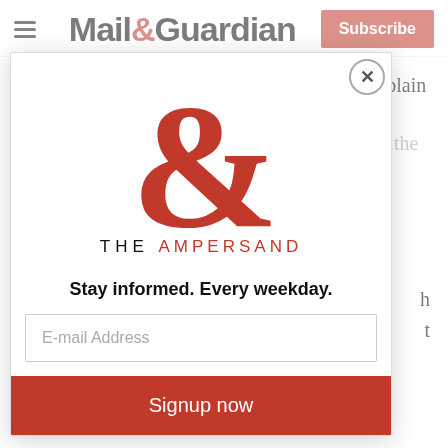Mail&Guardian | Subscribe
Maluleke said the fact that the ANC had a chaplain general was “a bit odd for an organisation that claims to embrace all religions. It clashes with the professed se...
H... g... o... w... se...
F... o...
[Figure (logo): The Ampersand newsletter logo with large red ampersand symbol and text THE AMPERSAND]
Stay informed. Every weekday.
E-mail Address
Signup now